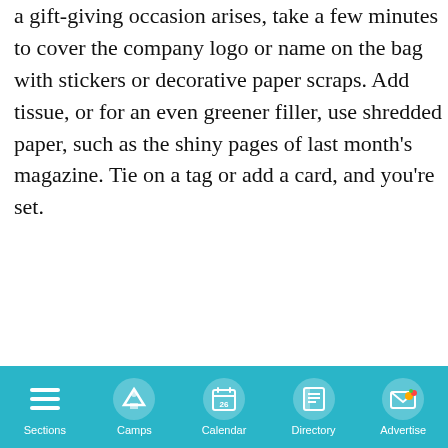a gift-giving occasion arises, take a few minutes to cover the company logo or name on the bag with stickers or decorative paper scraps. Add tissue, or for an even greener filler, use shredded paper, such as the shiny pages of last month's magazine. Tie on a tag or add a card, and you're set.
[Figure (other): Advertisement for Kids at Art studio overlapping with a FREE Kids Days tennis class banner (Advantage QuickStart Tennis) and a CLOSE button overlay]
[Figure (other): Navigation bar with icons for Sections (hamburger), Camps (tent), Calendar (calendar with 26), Directory (book), Advertise (envelope with icons)]